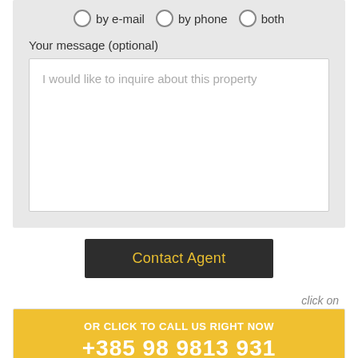by e-mail   by phone   both
Your message (optional)
I would like to inquire about this property
Contact Agent
click on
OR CLICK TO CALL US RIGHT NOW
+385 98 9813 931